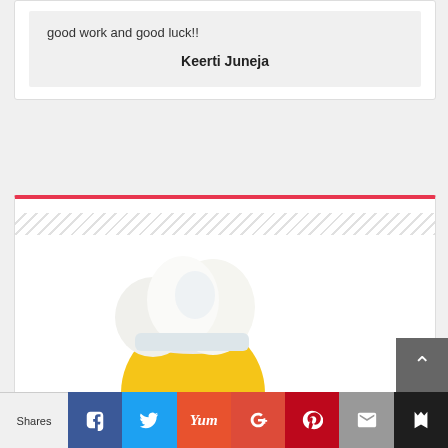good work and good luck!!
Keerti Juneja
[Figure (illustration): Chef emoji illustration with white chef hat and large brown mustache on a yellow circular face, inside a card with a red top border and diagonal stripe decoration]
Shares | Facebook | Twitter | Yum | Google+ | Pinterest | Email | Bookmark